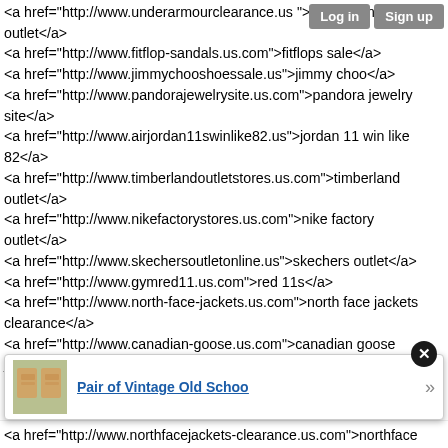<a href="http://www.underarmourclearance.us">under armour outlet</a>
<a href="http://www.fitflop-sandals.us.com">fitflops sale</a>
<a href="http://www.jimmychooshoessale.us">jimmy choo</a>
<a href="http://www.pandorajewelrysite.us.com">pandora jewelry site</a>
<a href="http://www.airjordan11swinlike82.us">jordan 11 win like 82</a>
<a href="http://www.timberlandoutletstores.us.com">timberland outlet</a>
<a href="http://www.nikefactorystores.us.com">nike factory outlet</a>
<a href="http://www.skechersoutletonline.us">skechers outlet</a>
<a href="http://www.gymred11.us.com">red 11s</a>
<a href="http://www.north-face-jackets.us.com">north face jackets clearance</a>
<a href="http://www.canadian-goose.us.com">canadian goose jacket</a>
<a href="http://www.thenorthface-jackets.us">north face jackets</a>
<a href="http://www.kyrieirving-shoes.us">kyrie shoes</a>
<a href="http://www.skechers-shoes.org.uk">skechers go walk</a>
<a href="http://www.red-bottoms-shoes.us">red bottom shoes</a>
<a href="http://www.longchampbag.us">longchamp handbags</a>
<a href="http://www.ultraboost.us.org">adidas ultra boost</a>
<a href="http://www.lacosteoutletstores.us">lacoste outlet stores</a>
<a href="http://www.yeezybooststore.v2.us.com">yeezy boost v2</a> [partial]
<a href="http://www.northfacejackets-clearance.us.com">northface [partial]
[Figure (screenshot): Popup overlay showing 'Pair of Vintage Old Schoo' with a product thumbnail image and navigation arrow, with a close (X) button.]